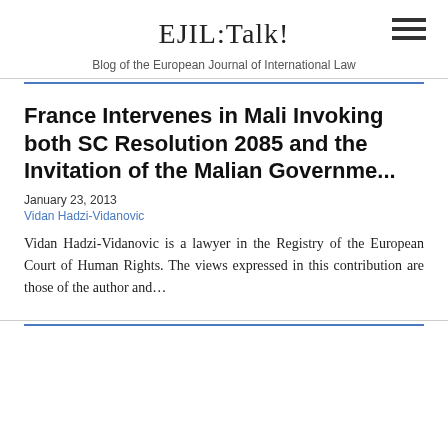EJIL:Talk!
Blog of the European Journal of International Law
France Intervenes in Mali Invoking both SC Resolution 2085 and the Invitation of the Malian Governme...
January 23, 2013
Vidan Hadzi-Vidanovic
Vidan Hadzi-Vidanovic is a lawyer in the Registry of the European Court of Human Rights. The views expressed in this contribution are those of the author and...